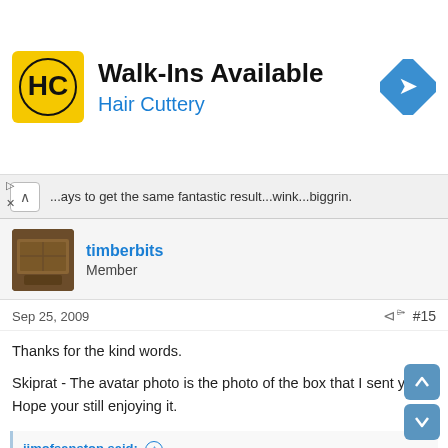[Figure (other): Hair Cuttery advertisement banner with logo and navigation arrow icon. Text: Walk-Ins Available, Hair Cuttery]
...ays to get the same fantastic result...wink...biggrin.
timberbits
Member
Sep 25, 2009  #15
Thanks for the kind words.

Skiprat - The avatar photo is the photo of the box that I sent you. Hope your still enjoying it.
jimofsanston said: ↑

Is that the pen kit you were having them make for you? The wood is beautiful. 🙂